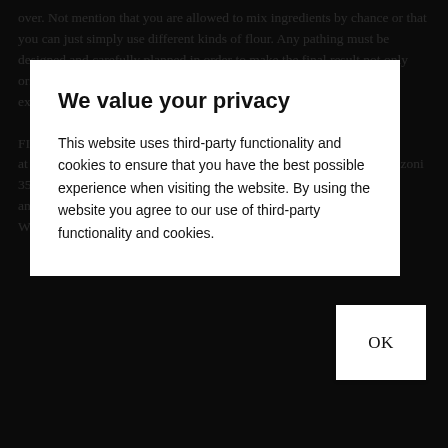over. Not mention that you are allowed to mix ingredients by chance or that you can just simply use different kinds of flour. Any pathing must be designed and carefully planned in order to make the final result not only origination also very delicious. The alternative pizza is a new culinary experience that emphasizes the quality of the product. FIND OUT MORE ABOUT OUR PIZZA... at the academy for pizza according to the book, at Via Alessandro Manzoni 35-35, SSS can also call 081-645028 or send an e-mail to annalisasantantana@hotmail.it We look forward to your visit!
We value your privacy
This website uses third-party functionality and cookies to ensure that you have the best possible experience when visiting the website. By using the website you agree to our use of third-party functionality and cookies.
OK